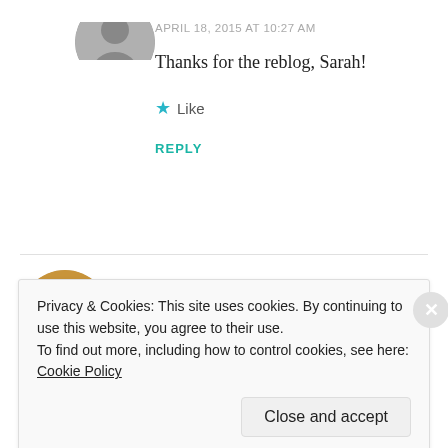[Figure (photo): Circular avatar photo of a person, partially visible at top of page]
APRIL 18, 2015 AT 10:27 AM
Thanks for the reblog, Sarah!
★ Like
REPLY
Jennifer T Webb
APRIL 18, 2015 AT 9:56 AM
Privacy & Cookies: This site uses cookies. By continuing to use this website, you agree to their use.
To find out more, including how to control cookies, see here: Cookie Policy
Close and accept